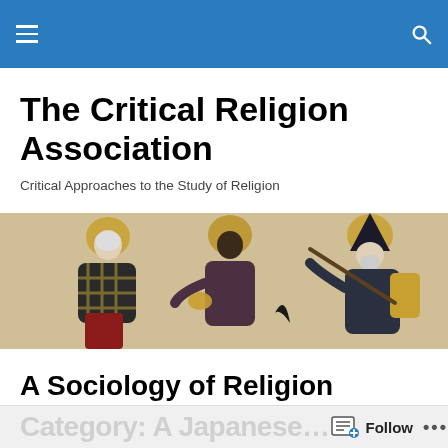Navigation bar with hamburger menu and search icon
The Critical Religion Association
Critical Approaches to the Study of Religion
[Figure (illustration): Medieval manuscript-style painting showing three robed figures with halos against a parchment-coloured background; one figure on the right holds a staff and gestures upward.]
A Sociology of Religion
Category: A Japanese…   Follow   •••